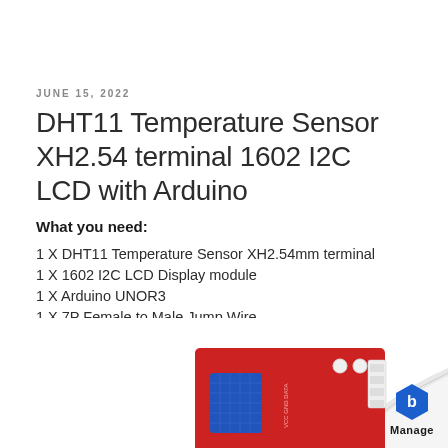JUNE 15, 2022
DHT11 Temperature Sensor XH2.54 terminal 1602 I2C LCD with Arduino
What you need:
1 X DHT11 Temperature Sensor XH2.54mm terminal
1 X 1602 I2C LCD Display module
1 X Arduino UNOR3
1 X 7P Female to Male Jump Wire
1 X USB Cable
[Figure (photo): Photo of a red DHT11 temperature sensor module with XH2.54 connector and a page curl effect in the bottom right corner with a blue hexagon Manage logo.]